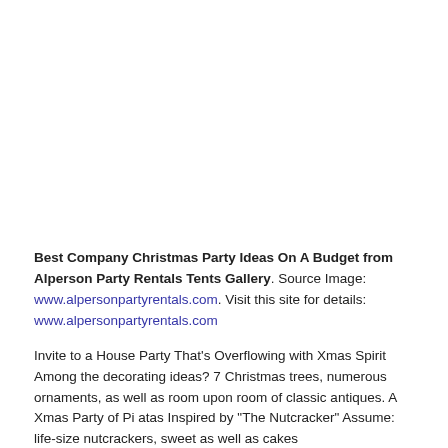[Figure (photo): Image placeholder area at top of page (photo not visible in cropped view)]
Best Company Christmas Party Ideas On A Budget from Alperson Party Rentals Tents Gallery. Source Image: www.alpersonpartyrentals.com. Visit this site for details: www.alpersonpartyrentals.com
Invite to a House Party That's Overflowing with Xmas Spirit Among the decorating ideas? 7 Christmas trees, numerous ornaments, as well as room upon room of classic antiques. A Xmas Party of Pi atas Inspired by "The Nutcracker" Assume: life-size nutcrackers, sweet as well as cakes